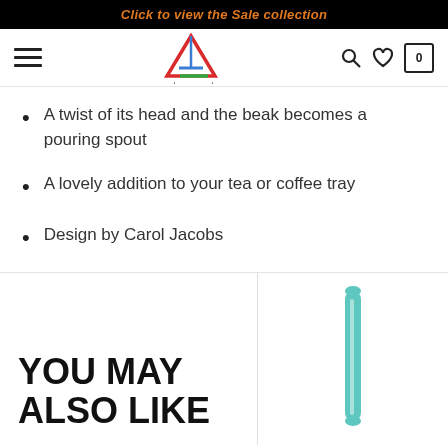Click to view the Sale collection
[Figure (logo): Above Normal store logo with colorful triangle A and script text 'above normal']
A twist of its head and the beak becomes a pouring spout
A lovely addition to your tea or coffee tray
Design by Carol Jacobs
YOU MAY ALSO LIKE
[Figure (photo): Teal/mint colored pen product preview]